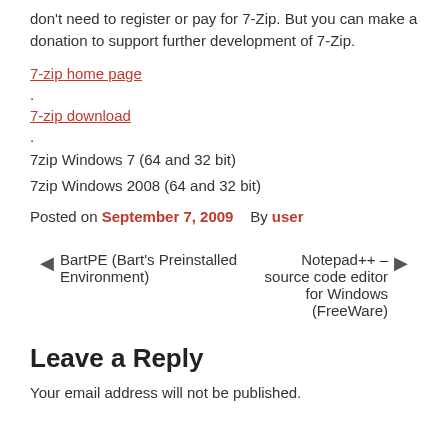don't need to register or pay for 7-Zip. But you can make a donation to support further development of 7-Zip.
7-zip home page.
7-zip download.
7zip Windows 7 (64 and 32 bit)
7zip Windows 2008 (64 and 32 bit)
Posted on September 7, 2009   By user
◀ BartPE (Bart's Preinstalled Environment)        Notepad++ – source code editor for Windows (FreeWare) ▶
Leave a Reply
Your email address will not be published.